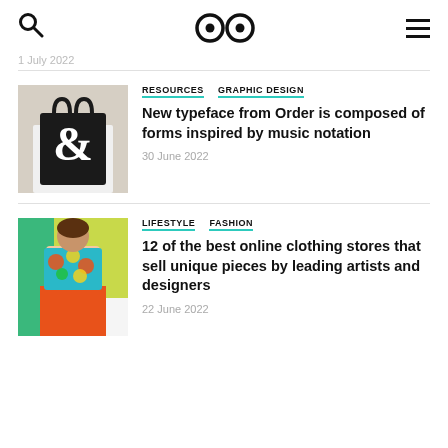Search | Logo (eyes) | Menu
1 July 2022
[Figure (photo): Person holding a black tote bag with large white ampersand symbol]
RESOURCES  GRAPHIC DESIGN
New typeface from Order is composed of forms inspired by music notation
30 June 2022
[Figure (photo): Woman in colorful floral top with orange skirt against yellow-green background]
LIFESTYLE  FASHION
12 of the best online clothing stores that sell unique pieces by leading artists and designers
22 June 2022